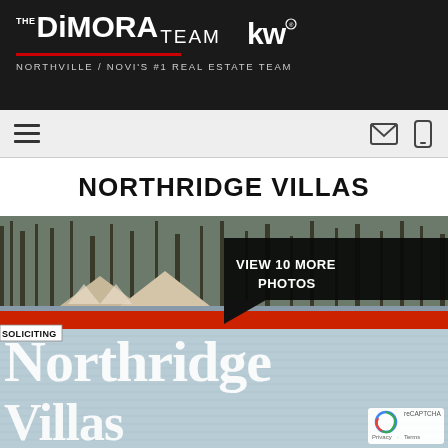THE DiMORA TEAM kw NORTHVILLE / NOVI'S #1 REAL ESTATE TEAM
NORTHRIDGE VILLAS
[Figure (photo): Photograph of Northridge Villas community entrance sign with red rail fence element and winter trees in background. Overlay shows VIEW 10 MORE PHOTOS button. Sign reads Northridge Villas in white serif text on light blue/grey background. SOLICITING tag visible. reCAPTCHA Privacy Terms badge in bottom right.]